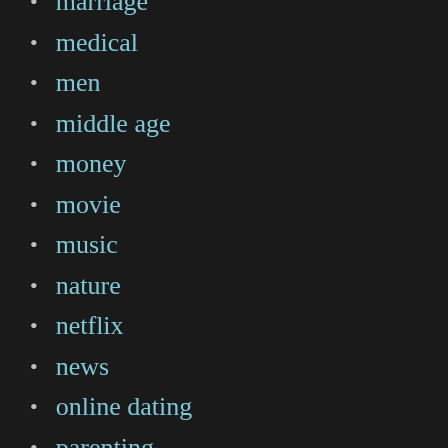marriage
medical
men
middle age
money
movie
music
nature
netflix
news
online dating
parenting
pet
philadelphia
philly
photography
real estate